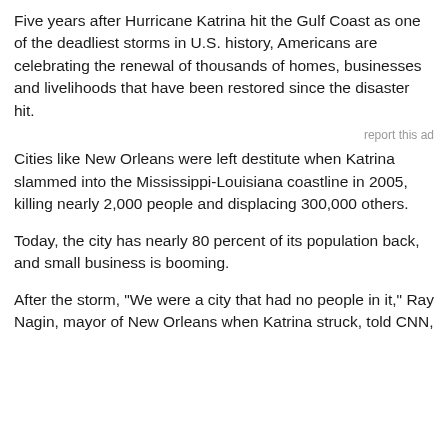Five years after Hurricane Katrina hit the Gulf Coast as one of the deadliest storms in U.S. history, Americans are celebrating the renewal of thousands of homes, businesses and livelihoods that have been restored since the disaster hit.
report this ad
Cities like New Orleans were left destitute when Katrina slammed into the Mississippi-Louisiana coastline in 2005, killing nearly 2,000 people and displacing 300,000 others.
Today, the city has nearly 80 percent of its population back, and small business is booming.
After the storm, "We were a city that had no people in it," Ray Nagin, mayor of New Orleans when Katrina struck, told CNN,